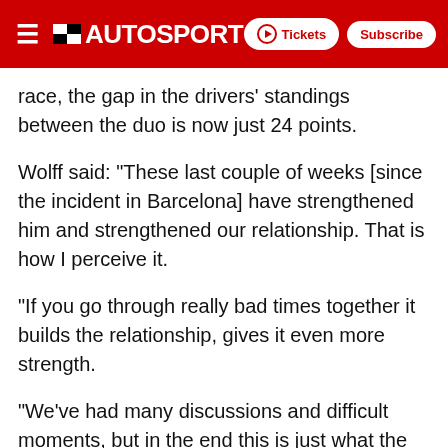AUTOSPORT
race, the gap in the drivers' standings between the duo is now just 24 points.
Wolff said: "These last couple of weeks [since the incident in Barcelona] have strengthened him and strengthened our relationship. That is how I perceive it.
"If you go through really bad times together it builds the relationship, gives it even more strength.
"We've had many discussions and difficult moments, but in the end this is just what the doctor ordered. We needed that win.
"Although with Nico it didn't go well for him, it is just a big relief we have been able to score this win with him [Hamilton] after such a terrible streak of bad